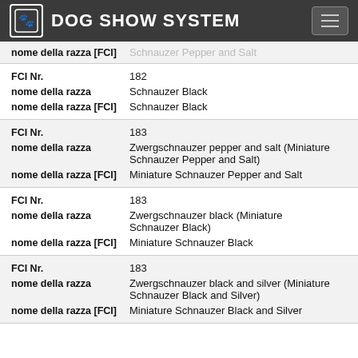DOG SHOW SYSTEM
| Field | Value |
| --- | --- |
| nome della razza [FCI] | Schnauzer Pepper and Salt |
| FCI Nr. | 182 |
| nome della razza | Schnauzer Black |
| nome della razza [FCI] | Schnauzer Black |
| FCI Nr. | 183 |
| nome della razza | Zwergschnauzer pepper and salt (Miniature Schnauzer Pepper and Salt) |
| nome della razza [FCI] | Miniature Schnauzer Pepper and Salt |
| FCI Nr. | 183 |
| nome della razza | Zwergschnauzer black (Miniature Schnauzer Black) |
| nome della razza [FCI] | Miniature Schnauzer Black |
| FCI Nr. | 183 |
| nome della razza | Zwergschnauzer black and silver (Miniature Schnauzer Black and Silver) |
| nome della razza [FCI] | Miniature Schnauzer Black and Silver |